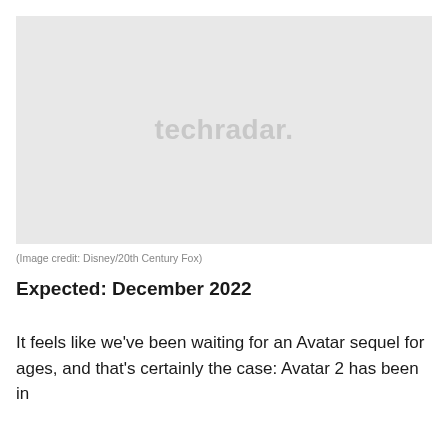[Figure (photo): Placeholder image with 'techradar.' watermark on a light gray background]
(Image credit: Disney/20th Century Fox)
Expected: December 2022
It feels like we've been waiting for an Avatar sequel for ages, and that's certainly the case: Avatar 2 has been in